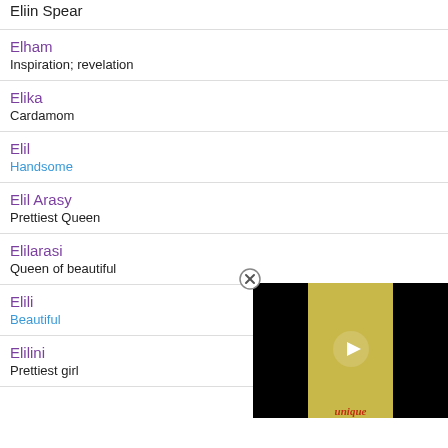Eliin Spear
Elham
Inspiration; revelation
Elika
Cardamom
Elil
Handsome
Elil Arasy
Prettiest Queen
Elilarasi
Queen of beautiful
Elili
Beautiful
Elilini
Prettiest girl
[Figure (screenshot): Video player overlay showing a thumbnail with yellow/olive background, a play button, partial text 'unique', and a close (X) button in the top-left corner of the overlay.]